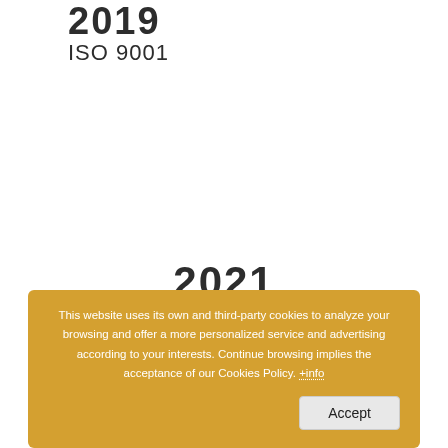2019
ISO 9001
2021
INNOVATIVE COMPANY
This website uses its own and third-party cookies to analyze your browsing and offer a more personalized service and advertising according to your interests. Continue browsing implies the acceptance of our Cookies Policy. +info
Accept